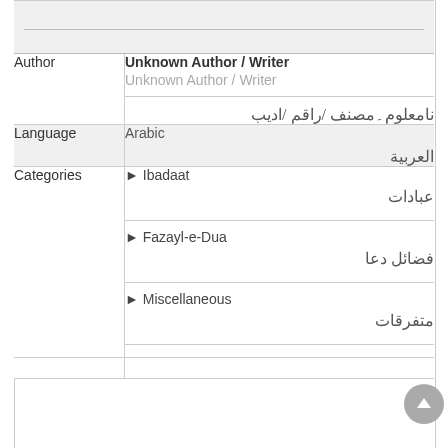| Field | Value |
| --- | --- |
|  |  |
| Author | Unknown Author / Writer
Unknown Author / Writer
نامعلوم۔مصنف /راقم /ادیب |
| Language | Arabic
العربیة |
| Categories | ▶ Ibadaat
عبادات
▶ Fazayl-e-Dua
فضائل دعا
▶ Miscellaneous
متفرقات |